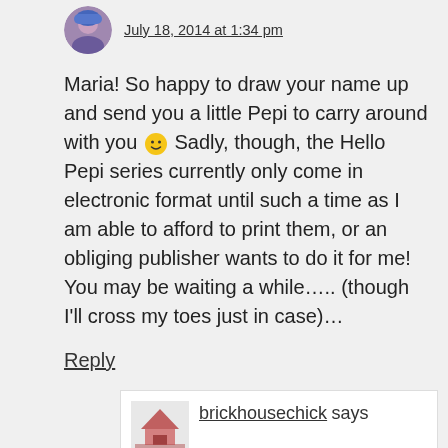[Figure (photo): Small circular avatar photo of a person with blue hair]
July 18, 2014 at 1:34 pm
Maria! So happy to draw your name up and send you a little Pepi to carry around with you 😀 Sadly, though, the Hello Pepi series currently only come in electronic format until such a time as I am able to afford to print them, or an obliging publisher wants to do it for me! You may be waiting a while….. (though I'll cross my toes just in case)…
Reply
[Figure (logo): brickhousechick.com logo image]
brickhousechick says